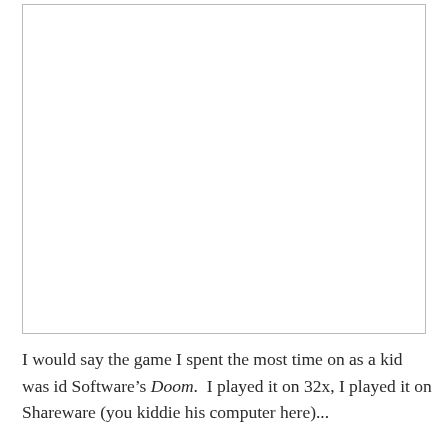[Figure (other): A large white/blank image placeholder with a thin border outline.]
I would say the game I spent the most time on as a kid was id Software’s Doom.  I played it on 32x, I played it on Shareware (you kiddie his computer here)...